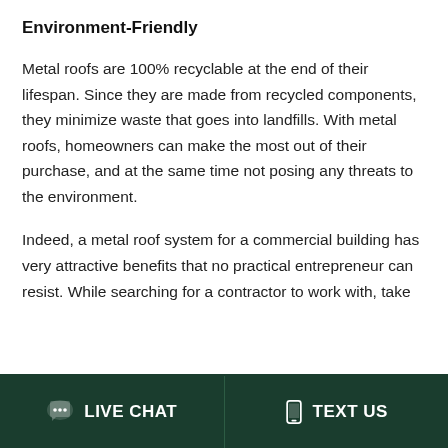Environment-Friendly
Metal roofs are 100% recyclable at the end of their lifespan. Since they are made from recycled components, they minimize waste that goes into landfills. With metal roofs, homeowners can make the most out of their purchase, and at the same time not posing any threats to the environment.
Indeed, a metal roof system for a commercial building has very attractive benefits that no practical entrepreneur can resist. While searching for a contractor to work with, take
LIVE CHAT   TEXT US